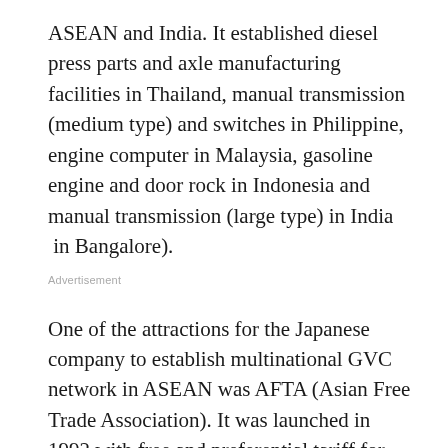ASEAN and India. It established diesel press parts and axle manufacturing facilities in Thailand, manual transmission (medium type) and switches in Philippine, engine computer in Malaysia, gasoline engine and door rock in Indonesia and manual transmission (large type) in India  in Bangalore).
Advertisement
One of the attractions for the Japanese company to establish multinational GVC network in ASEAN was AFTA (Asian Free Trade Association). It was launched in 1992 with free and preferential tariff for trade among the ASEAN – 10 countries.
On the similar perception, West Bengal can also be portrayed an important partner for GVC network in ASEAN and other East Asian countries. West Bengal